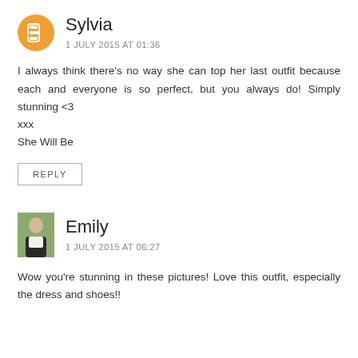Sylvia
1 JULY 2015 AT 01:36
I always think there's no way she can top her last outfit because each and everyone is so perfect, but you always do! Simply stunning <3
xxx
She Will Be
REPLY
[Figure (photo): Small photo of Emily, a young woman with dark hair, smiling outdoors]
Emily
1 JULY 2015 AT 06:27
Wow you're stunning in these pictures! Love this outfit, especially the dress and shoes!!